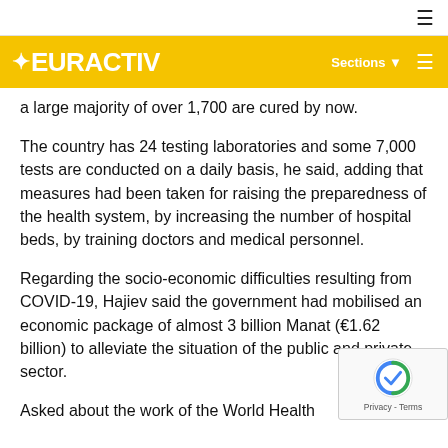EURACTIV — Sections
a large majority of over 1,700 are cured by now.
The country has 24 testing laboratories and some 7,000 tests are conducted on a daily basis, he said, adding that measures had been taken for raising the preparedness of the health system, by increasing the number of hospital beds, by training doctors and medical personnel.
Regarding the socio-economic difficulties resulting from COVID-19, Hajiev said the government had mobilised an economic package of almost 3 billion Manat (€1.62 billion) to alleviate the situation of the public and private sector.
Asked about the work of the World Health